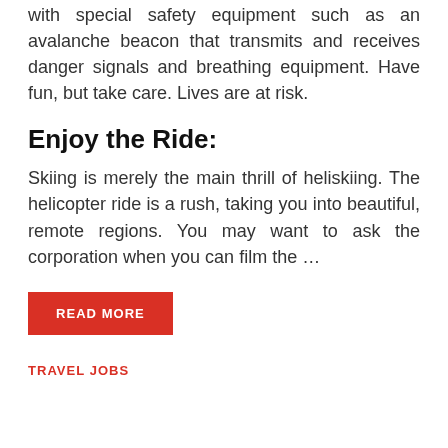with special safety equipment such as an avalanche beacon that transmits and receives danger signals and breathing equipment. Have fun, but take care. Lives are at risk.
Enjoy the Ride:
Skiing is merely the main thrill of heliskiing. The helicopter ride is a rush, taking you into beautiful, remote regions. You may want to ask the corporation when you can film the …
READ MORE
TRAVEL JOBS